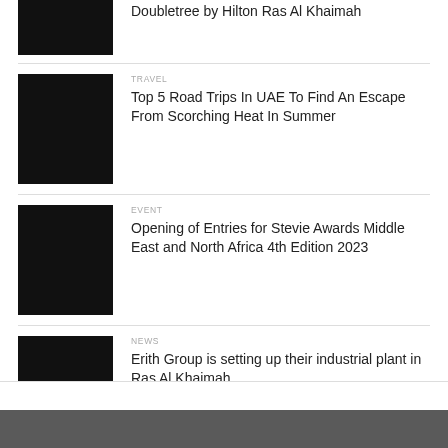[Figure (photo): Black thumbnail image for Doubletree by Hilton Ras Al Khaimah article]
Doubletree by Hilton Ras Al Khaimah
[Figure (photo): Black thumbnail image for Travel article]
TRAVEL
Top 5 Road Trips In UAE To Find An Escape From Scorching Heat In Summer
[Figure (photo): Black thumbnail image for Event article]
EVENT
Opening of Entries for Stevie Awards Middle East and North Africa 4th Edition 2023
[Figure (photo): Black thumbnail image for News article]
NEWS
Erith Group is setting up their industrial plant in Ras Al Khaimah